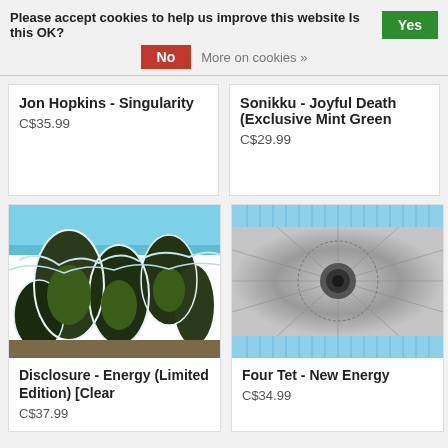Please accept cookies to help us improve this website Is this OK? Yes
No   More on cookies »
Jon Hopkins - Singularity
C$35.99
Sonikku - Joyful Death (Exclusive Mint Green
C$29.99
[Figure (photo): Aerial photo of coastal landscape with blue ocean water and dark rocky land masses with white outlines]
Disclosure - Energy (Limited Edition) [Clear
C$37.99
[Figure (photo): Black and white image with blue horizontal stripes, showing a circular crater or vortex pattern]
Four Tet - New Energy
C$34.99